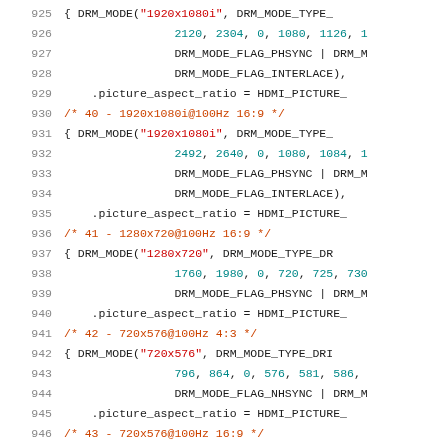Source code listing lines 925-946, DRM mode definitions in C
925   { DRM_MODE("1920x1080i", DRM_MODE_TYPE_...
926         2120, 2304, 0, 1080, 1126, 1...
927         DRM_MODE_FLAG_PHSYNC | DRM_M...
928         DRM_MODE_FLAG_INTERLACE),
929     .picture_aspect_ratio = HDMI_PICTURE_...
930   /* 40 - 1920x1080i@100Hz 16:9 */
931   { DRM_MODE("1920x1080i", DRM_MODE_TYPE_...
932         2492, 2640, 0, 1080, 1084, 1...
933         DRM_MODE_FLAG_PHSYNC | DRM_M...
934         DRM_MODE_FLAG_INTERLACE),
935     .picture_aspect_ratio = HDMI_PICTURE_...
936   /* 41 - 1280x720@100Hz 16:9 */
937   { DRM_MODE("1280x720", DRM_MODE_TYPE_DR...
938         1760, 1980, 0, 720, 725, 730...
939         DRM_MODE_FLAG_PHSYNC | DRM_M...
940     .picture_aspect_ratio = HDMI_PICTURE_...
941   /* 42 - 720x576@100Hz 4:3 */
942   { DRM_MODE("720x576", DRM_MODE_TYPE_DRI...
943         796, 864, 0, 576, 581, 586,...
944         DRM_MODE_FLAG_NHSYNC | DRM_M...
945     .picture_aspect_ratio = HDMI_PICTURE_...
946   /* 43 - 720x576@100Hz 16:9 */